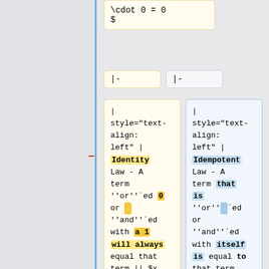\cdot 0 = 0
$
|-
|-
| style="text-align: left" | Identity Law - A term ''or''´ed 0 or ''and''´ed with a 1 will always equal that term || $x + 0 = x$ || $x \cdot 1 = x$
| style="text-align: left" | Idempotent Law - A term that is ''or'''´ed or ''and''´ed with itself is equal to that term. || $ x +x = x ||x \cdot x = x$